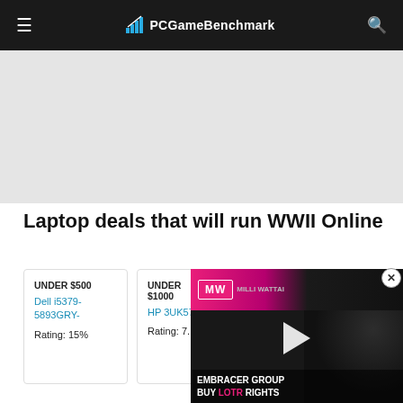PCGameBenchmark
[Figure (other): Advertisement gray placeholder area]
Laptop deals that will run WWII Online
UNDER $500
Dell i5379-5893GRY-
Rating: 15%
UNDER $1000
HP 3UK57U...
Rating: 7...%
Rating: 62%
[Figure (screenshot): Video overlay for MW - Embracer Group Buy LOTR Rights with play button]